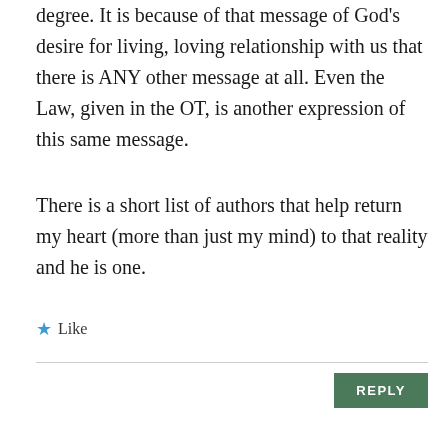degree. It is because of that message of God's desire for living, loving relationship with us that there is ANY other message at all. Even the Law, given in the OT, is another expression of this same message.
There is a short list of authors that help return my heart (more than just my mind) to that reality and he is one.
★ Like
REPLY